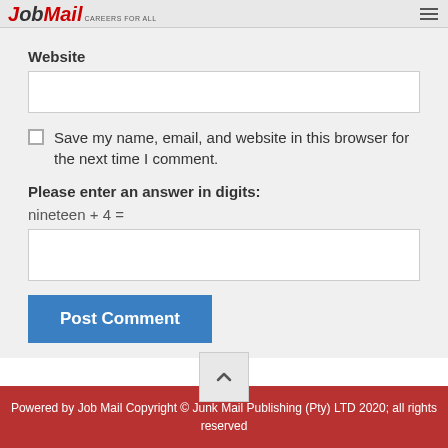Job Mail - Careers For All
Website
Save my name, email, and website in this browser for the next time I comment.
Please enter an answer in digits:
nineteen + 4 =
Post Comment
Powered by Job Mail Copyright © Junk Mail Publishing (Pty) LTD 2020; all rights reserved